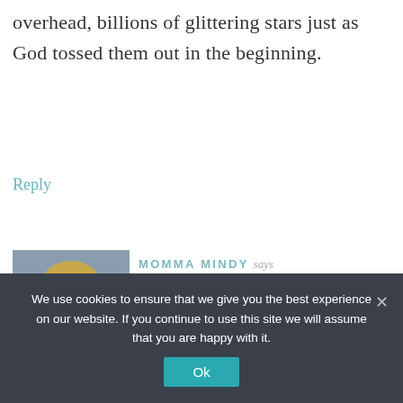overhead, billions of glittering stars just as God tossed them out in the beginning.
Reply
[Figure (photo): Portrait photo of a smiling woman with curly blonde hair against a bluish-grey background.]
MOMMA MINDY says
SEPTEMBER 11, 2012 AT 5:58 AM
We use cookies to ensure that we give you the best experience on our website. If you continue to use this site we will assume that you are happy with it.